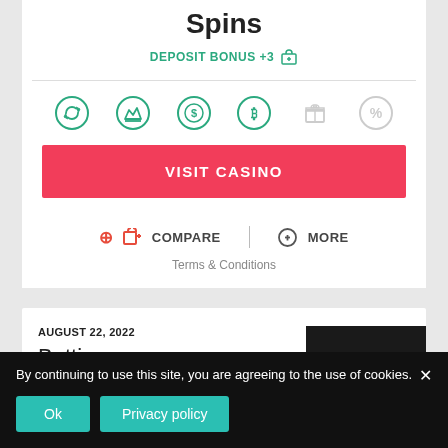Spins
DEPOSIT BONUS +3
[Figure (infographic): Row of 6 circular icons: refresh/sync, crown, dollar coin, bitcoin, gift box, percent — first four in teal, last two in gray]
VISIT CASINO
COMPARE | MORE
Terms & Conditions
AUGUST 22, 2022
Betti
7.8 / 10
[Figure (logo): Betti casino logo: dark background with white BETTI text and dark navy upload arrow badge]
By continuing to use this site, you are agreeing to the use of cookies.
Ok | Privacy policy